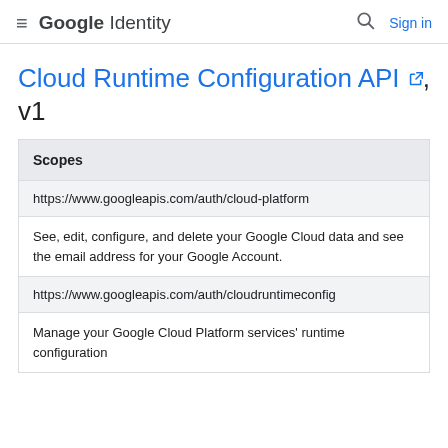Google Identity  Sign in
Cloud Runtime Configuration API, v1
| Scopes |
| --- |
| https://www.googleapis.com/auth/cloud-platform |
| See, edit, configure, and delete your Google Cloud data and see the email address for your Google Account. |
| https://www.googleapis.com/auth/cloudruntimeconfig |
| Manage your Google Cloud Platform services' runtime configuration |